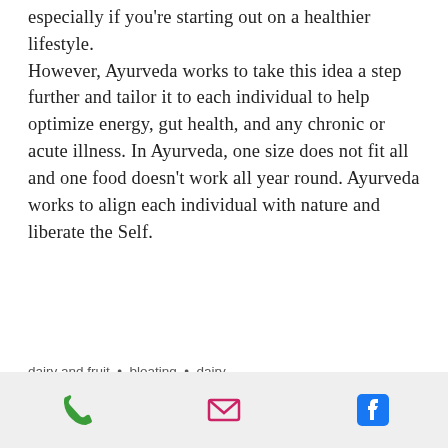especially if you're starting out on a healthier lifestyle. However, Ayurveda works to take this idea a step further and tailor it to each individual to help optimize energy, gut health, and any chronic or acute illness. In Ayurveda, one size does not fit all and one food doesn't work all year round. Ayurveda works to align each individual with nature and liberate the Self.
dairy and fruit · bloating · dairy
[Figure (infographic): Social sharing icons: Facebook, Twitter, LinkedIn, link/chain icon; scroll-to-top button (grey square with up chevron)]
[Figure (infographic): Mobile bottom navigation bar with phone icon (green), email/envelope icon (pink/magenta), and Facebook icon (blue)]